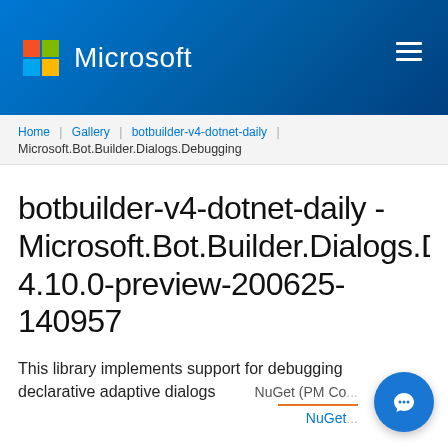Microsoft
Home | Gallery | botbuilder-v4-dotnet-daily | Microsoft.Bot.Builder.Dialogs.Debugging
botbuilder-v4-dotnet-daily - Microsoft.Bot.Builder.Dialogs.Debugging 4.10.0-preview-200625-140957
This library implements support for debugging declarative adaptive dialogs
NuGet (PM Co...
NuGet...